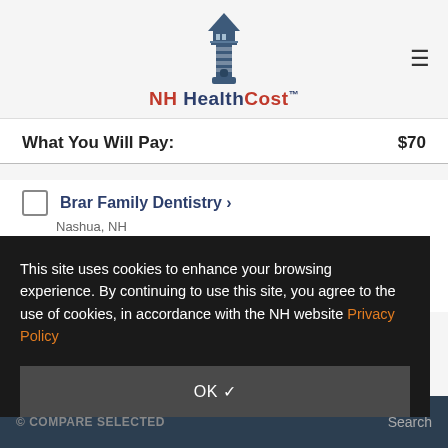[Figure (logo): NH HealthCost lighthouse logo with text]
What You Will Pay: $70
Brar Family Dentistry > Nashua, NH
$70
$70
This site uses cookies to enhance your browsing experience. By continuing to use this site, you agree to the use of cookies, in accordance with the NH website Privacy Policy
OK ✓
© COMPARE SELECTED   Search